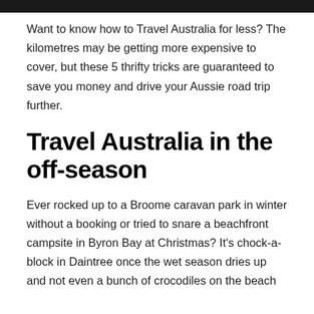[Figure (photo): Dark image strip at the top of the page, appears to be a cropped travel/landscape photo]
Want to know how to Travel Australia for less? The kilometres may be getting more expensive to cover, but these 5 thrifty tricks are guaranteed to save you money and drive your Aussie road trip further.
Travel Australia in the off-season
Ever rocked up to a Broome caravan park in winter without a booking or tried to snare a beachfront campsite in Byron Bay at Christmas? It's chock-a-block in Daintree once the wet season dries up and not even a bunch of crocodiles on the beach